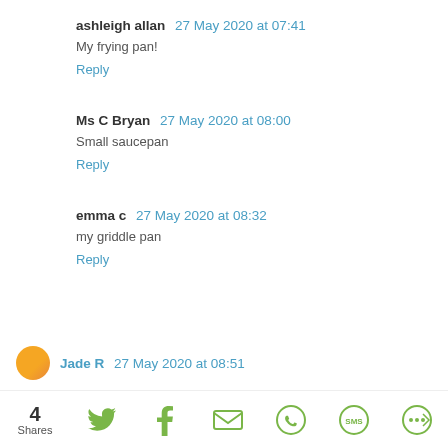ashleigh allan  27 May 2020 at 07:41
My frying pan!
Reply
Ms C Bryan  27 May 2020 at 08:00
Small saucepan
Reply
emma c  27 May 2020 at 08:32
my griddle pan
Reply
Jade R  27 May 2020 at 08:51
4 Shares